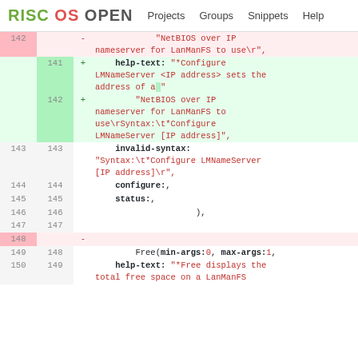RISC OS OPEN  Projects  Groups  Snippets  Help
[Figure (screenshot): Code diff view showing changes to a file with line numbers, deleted lines (red background), added lines (green background), and context lines. Diff includes changes around lines 141-150 involving help-text, NetBIOS over IP nameserver, invalid-syntax, configure, status fields, and a Free() function call.]